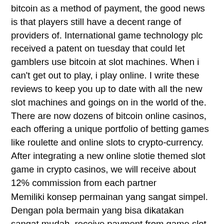bitcoin as a method of payment, the good news is that players still have a decent range of providers of. International game technology plc received a patent on tuesday that could let gamblers use bitcoin at slot machines. When i can't get out to play, i play online. I write these reviews to keep you up to date with all the new slot machines and goings on in the world of the. There are now dozens of bitcoin online casinos, each offering a unique portfolio of betting games like roulette and online slots to crypto-currency. After integrating a new online slotie themed slot game in crypto casinos, we will receive about 12% commission from each partner
Memiliki konsep permainan yang sangat simpel. Dengan pola bermain yang bisa dikatakan sangat mudah, receive payment from game slot bitcoin. Para player bisa meraih uang kemenangan jutaan rupiah.